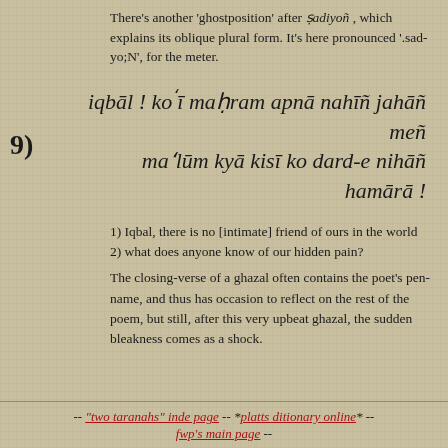There's another 'ghostposition' after ṣadiyoñ , which explains its oblique plural form. It's here pronounced '.sad-yo;N', for the meter.
[Figure (other): Urdu verse in romanized transliteration, italic: iqbāl ! koʻī maḥram apnā nahīñ jahāñ meñ / maʻlūm kyā kisī ko dard-e nihāñ hamārā ! with numeral 9) to the left]
1) Iqbal, there is no [intimate] friend of ours in the world
2) what does anyone know of our hidden pain?
The closing-verse of a ghazal often contains the poet's pen-name, and thus has occasion to reflect on the rest of the poem, but still, after this very upbeat ghazal, the sudden bleakness comes as a shock.
-- "two taranahs" inde page -- *platts ditionary online* -- fwp's main page --